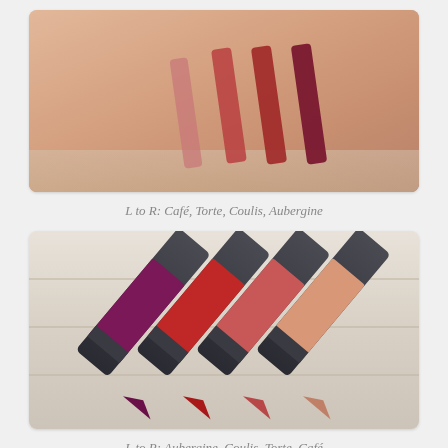[Figure (photo): Skin swatch photo showing four lip liner swatches painted on a wrist/arm, ranging from light pink to dark burgundy, on a skin-toned background]
L to R: Café, Torte, Coulis, Aubergine
[Figure (photo): Photo of four lip liner pencils lying diagonally on a white wooden surface, showing their colored tips: dark purple/aubergine, red, pink-red, and nude/café]
L to R: Aubergine, Coulis, Torte, Café